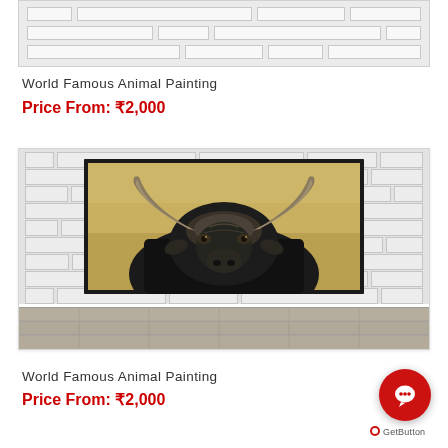[Figure (illustration): Partial top of a product card showing a brick wall display image, cut off at the top of the page]
World Famous Animal Painting
Price From: ₹2,000
[Figure (photo): A painting of a black African buffalo (Cape buffalo) with large curved horns facing forward, displayed in a black frame against a brick wall background with a wooden floor at the bottom. The painting has a warm golden/yellow background.]
World Famous Animal Painting
Price From: ₹2,000